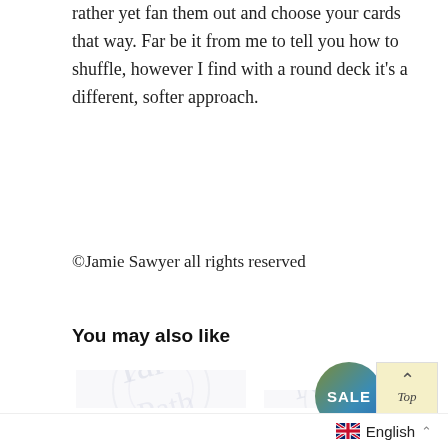rather yet fan them out and choose your cards that way. Far be it from me to tell you how to shuffle, however I find with a round deck it’s a different, softer approach.
©Jamie Sawyer all rights reserved
You may also like
[Figure (photo): Two product images side by side: left shows 'Sawyer's Path Tarot with Tarot 33.6 Deluxe Box Set', right shows 'BUNDLE: Sawyer's Nature Portals De...' with a SALE badge circle overlay on the right product.]
Sawyer’s Path Tarot with Tarot 33.6 Deluxe Box Set
BUNDLE: Sawyer’s Nature Portals De
English